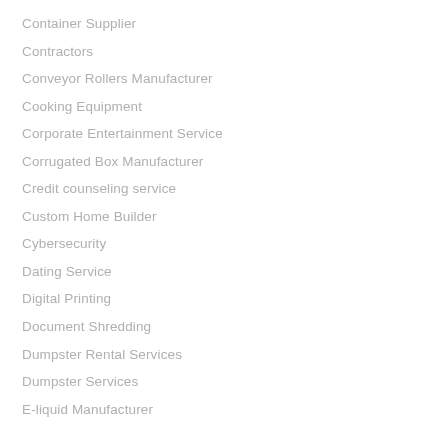Container Supplier
Contractors
Conveyor Rollers Manufacturer
Cooking Equipment
Corporate Entertainment Service
Corrugated Box Manufacturer
Credit counseling service
Custom Home Builder
Cybersecurity
Dating Service
Digital Printing
Document Shredding
Dumpster Rental Services
Dumpster Services
E-liquid Manufacturer